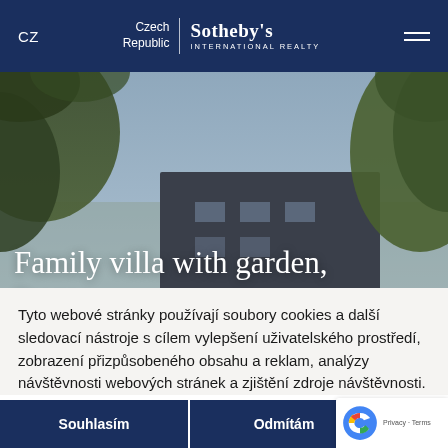CZ | Czech Republic Sotheby's International Realty
[Figure (photo): Exterior photo of a modern family villa with trees in the foreground against a grey sky]
Family villa with garden,
Tyto webové stránky používají soubory cookies a další sledovací nástroje s cílem vylepšení uživatelského prostředí, zobrazení přizpůsobeného obsahu a reklam, analýzy návštěvnosti webových stránek a zjištění zdroje návštěvnosti.
Souhlasím
Odmítám
Upravit nastavení předvolby